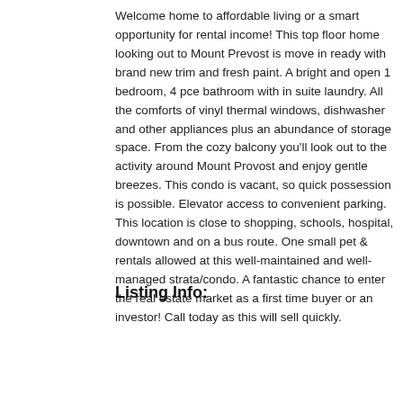Welcome home to affordable living or a smart opportunity for rental income! This top floor home looking out to Mount Prevost is move in ready with brand new trim and fresh paint. A bright and open 1 bedroom, 4 pce bathroom with in suite laundry. All the comforts of vinyl thermal windows, dishwasher and other appliances plus an abundance of storage space. From the cozy balcony you'll look out to the activity around Mount Provost and enjoy gentle breezes. This condo is vacant, so quick possession is possible. Elevator access to convenient parking. This location is close to shopping, schools, hospital, downtown and on a bus route. One small pet & rentals allowed at this well-maintained and well-managed strata/condo. A fantastic chance to enter the real estate market as a first time buyer or an investor! Call today as this will sell quickly.
Listing Info:
| Price: | $177,000 |
| Dwelling Type: | Condo Apartment |